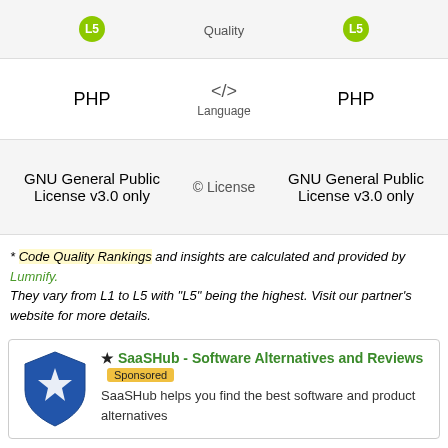|  | Quality |  |
| --- | --- | --- |
| (badge) | Quality | (badge) |
| PHP | Language | PHP |
| --- | --- | --- |
| PHP | </> Language | PHP |
| GNU General Public License v3.0 only | © License | GNU General Public License v3.0 only |
| --- | --- | --- |
* Code Quality Rankings and insights are calculated and provided by Lumnify. They vary from L1 to L5 with "L5" being the highest. Visit our partner's website for more details.
[Figure (infographic): SaaSHub advertisement box with blue shield logo, star icon, green title 'SaaSHub - Software Alternatives and Reviews', Sponsored badge, and description text.]